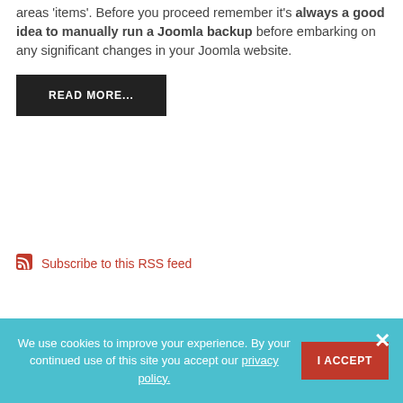areas 'items'. Before you proceed remember it's always a good idea to manually run a Joomla backup before embarking on any significant changes in your Joomla website.
READ MORE...
Subscribe to this RSS feed
We use cookies to improve your experience. By your continued use of this site you accept our privacy policy.